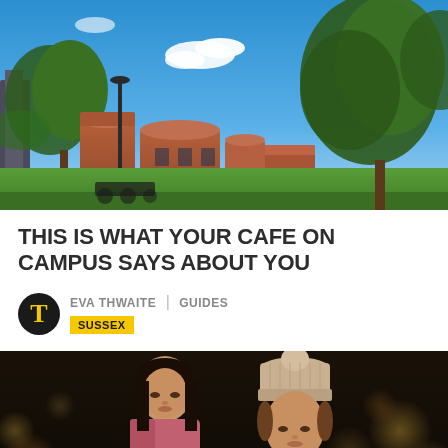[Figure (photo): Outdoor campus photo showing brick cylindrical buildings, green lawn, trees, lamp post, and blue sky with clouds]
THIS IS WHAT YOUR CAFE ON CAMPUS SAYS ABOUT YOU
EVA THWAITE | GUIDES
SUSSEX
[Figure (photo): Two young women looking down, one in pink jacket and one wearing a beige bobble hat, with bokeh lights in background]